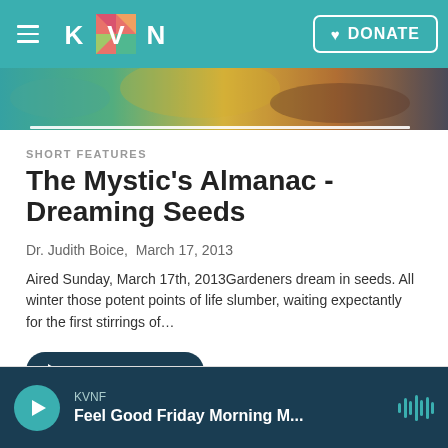KVNF — Navigation bar with hamburger menu, KVNF logo, and DONATE button
[Figure (photo): Hero image strip showing colorful background with teal, green, yellow, and dark tones]
SHORT FEATURES
The Mystic's Almanac - Dreaming Seeds
Dr. Judith Boice,  March 17, 2013
Aired Sunday, March 17th, 2013Gardeners dream in seeds. All winter those potent points of life slumber, waiting expectantly for the first stirrings of…
LISTEN • 5:20
KVNF — Feel Good Friday Morning M...